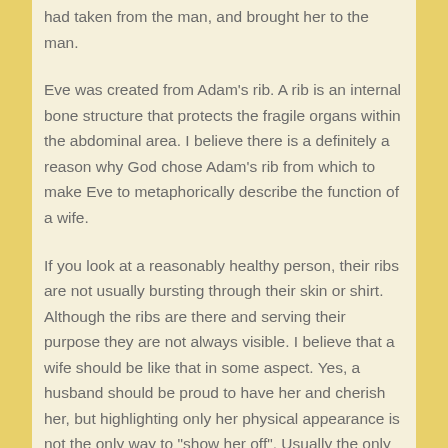had taken from the man, and brought her to the man.
Eve was created from Adam's rib. A rib is an internal bone structure that protects the fragile organs within the abdominal area. I believe there is a definitely a reason why God chose Adam's rib from which to make Eve to metaphorically describe the function of a wife.
If you look at a reasonably healthy person, their ribs are not usually bursting through their skin or shirt. Although the ribs are there and serving their purpose they are not always visible. I believe that a wife should be like that in some aspect. Yes, a husband should be proud to have her and cherish her, but highlighting only her physical appearance is not the only way to "show her off". Usually the only time you